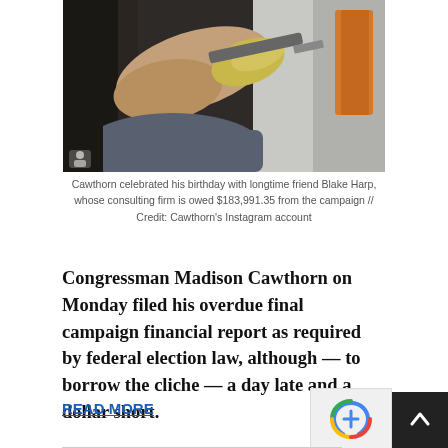[Figure (photo): Person wearing yellow gloves working with a tool, sitting in a wheelchair, with an orange object visible. Photo from Cawthorn's Instagram account.]
Cawthorn celebrated his birthday with longtime friend Blake Harp, whose consulting firm is owed $183,991.35 from the campaign // Credit: Cawthorn's Instagram account
Congressman Madison Cawthorn on Monday filed his overdue final campaign financial report as required by federal election law, although — to borrow the cliche — a day late and a dollar short.
READ MORE